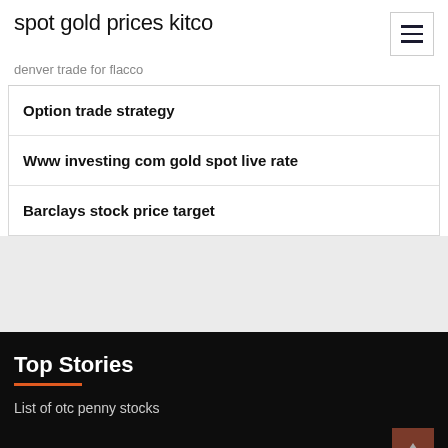spot gold prices kitco
denver trade for flacco
Option trade strategy
Www investing com gold spot live rate
Barclays stock price target
Top Stories
List of otc penny stocks